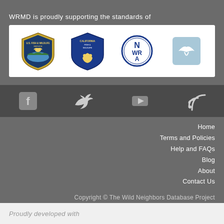WRMD is proudly supporting the standards of
[Figure (logo): Four organization logos in a white bar: U.S. Fish & Wildlife Service shield badge, California Fish & Wildlife shield badge, NWA (National Wildlife Rehabilitators Association) circular logo, and a light blue square icon with a bird silhouette]
[Figure (infographic): Dark grey social media bar with four icons: Facebook (f), Twitter (bird), YouTube (play button), RSS (signal/wifi icon)]
Home
Terms and Policies
Help and FAQs
Blog
About
Contact Us
Copyright © The Wild Neighbors Database Project
All rights reserved
Proudly developed with